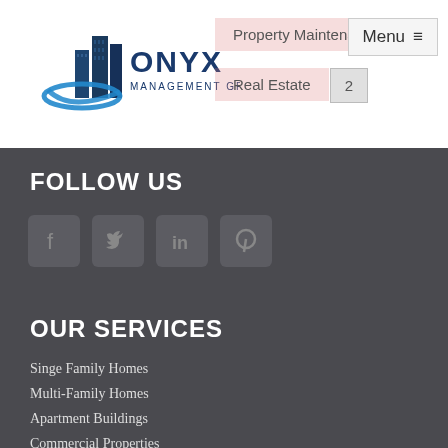[Figure (logo): Onyx Management Group logo with stylized building and blue swoosh]
Property Maintenance | Menu ≡
Real Estate | 2
FOLLOW US
[Figure (infographic): Social media icons: Facebook, Twitter, LinkedIn, Pinterest in dark rounded square boxes]
OUR SERVICES
Singe Family Homes
Multi-Family Homes
Apartment Buildings
Commercial Properties